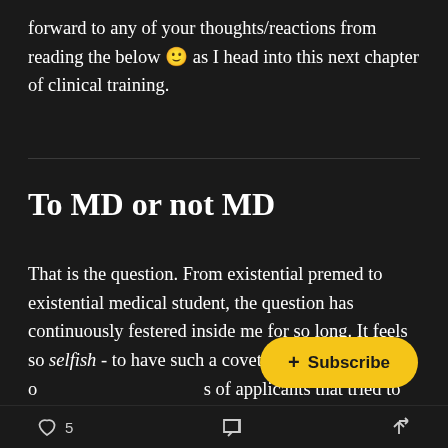forward to any of your thoughts/reactions from reading the below 🙂 as I head into this next chapter of clinical training.
To MD or not MD
That is the question. From existential premed to existential medical student, the question has continuously festered inside me for so long. It feels so selfish - to have such a coveted spot c[Subscribe button overlay]s of applicants that tried to make it her[covered]l school, so I keep it to myself. It feels guilty and full of sunk cost - after everything everyone has invested in me
♡ 5   💬   ↗